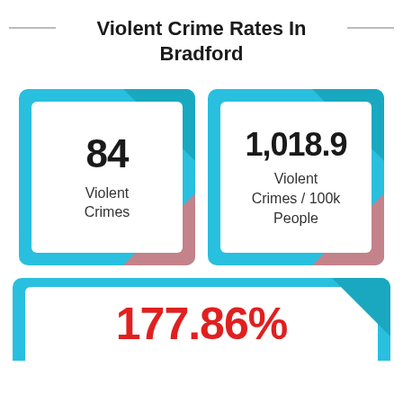Violent Crime Rates In Bradford
[Figure (infographic): Info card showing '84 Violent Crimes' on a cyan/teal background with white inner box, triangle decorations in dark teal (top-right) and pink (bottom-right)]
[Figure (infographic): Info card showing '1,018.9 Violent Crimes / 100k People' on a cyan/teal background with white inner box, triangle decorations in dark teal (top-right) and pink (bottom-right)]
[Figure (infographic): Partially visible info card showing '177.86%' in red text on white background inside a cyan/teal card, cut off at bottom of page]